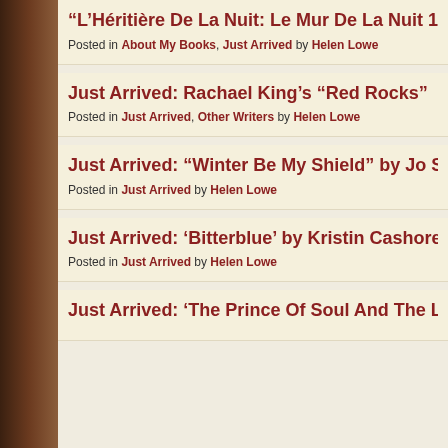“L’Héritière De La Nuit: Le Mur De La Nuit 1”
Posted in About My Books, Just Arrived by Helen Lowe
Just Arrived: Rachael King’s “Red Rocks”
Posted in Just Arrived, Other Writers by Helen Lowe
Just Arrived: “Winter Be My Shield” by Jo Spu…
Posted in Just Arrived by Helen Lowe
Just Arrived: ‘Bitterblue’ by Kristin Cashore
Posted in Just Arrived by Helen Lowe
Just Arrived: ‘The Prince Of Soul And The Lig…